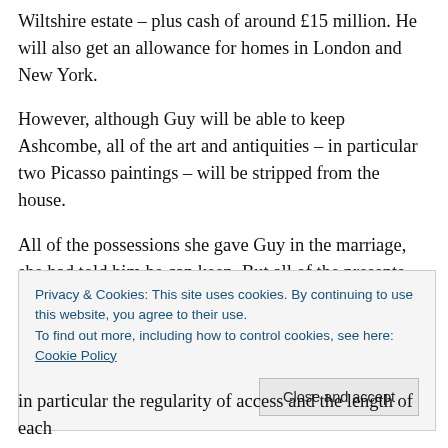Wiltshire estate – plus cash of around £15 million. He will also get an allowance for homes in London and New York.
However, although Guy will be able to keep Ashcombe, all of the art and antiquities – in particular two Picasso paintings – will be stripped from the house.
All of the possessions she gave Guy in the marriage, she had told him he can keep. But all of the presents Guy ever gave her, she is putting in storage.
Privacy & Cookies: This site uses cookies. By continuing to use this website, you agree to their use.
To find out more, including how to control cookies, see here: Cookie Policy
Close and accept
in particular the regularity of access and the length of each